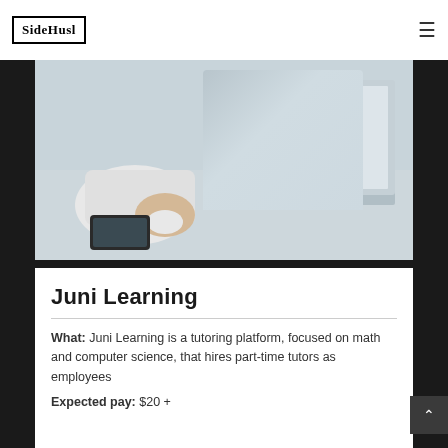SideHusl
[Figure (photo): Person at desk with hand on computer mouse, laptop open in background, smartphone on desk, light gray/blue tones]
Juni Learning
What: Juni Learning is a tutoring platform, focused on math and computer science, that hires part-time tutors as employees
Expected pay: $20 +